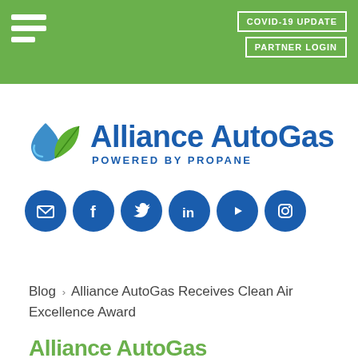COVID-19 UPDATE | PARTNER LOGIN
[Figure (logo): Alliance AutoGas logo with water droplet and green leaf icon, text 'Alliance AutoGas POWERED BY PROPANE', followed by social media icons: email, Facebook, Twitter, LinkedIn, YouTube, Instagram]
Blog > Alliance AutoGas Receives Clean Air Excellence Award
Alliance AutoGas...